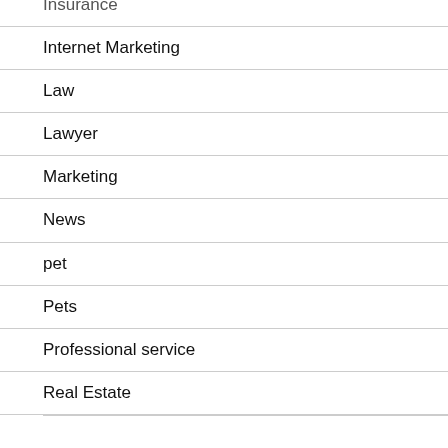Insurance
Internet Marketing
Law
Lawyer
Marketing
News
pet
Pets
Professional service
Real Estate